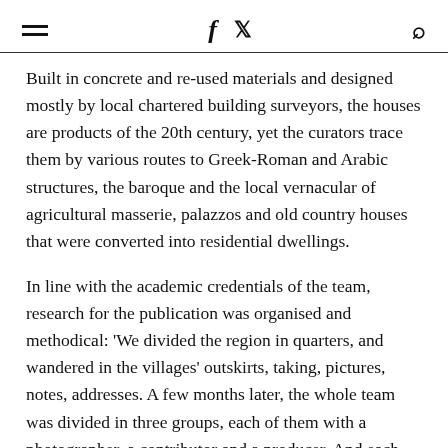≡  f  🐦  🔍
Built in concrete and re-used materials and designed mostly by local chartered building surveyors, the houses are products of the 20th century, yet the curators trace them by various routes to Greek-Roman and Arabic structures, the baroque and the local vernacular of agricultural masserie, palazzos and old country houses that were converted into residential dwellings.
In line with the academic credentials of the team, research for the publication was organised and methodical: 'We divided the region in quarters, and wandered in the villages' outskirts, taking, pictures, notes, addresses. A few months later, the whole team was divided in three groups, each of them with a photographer, a contributor and a producer. And each